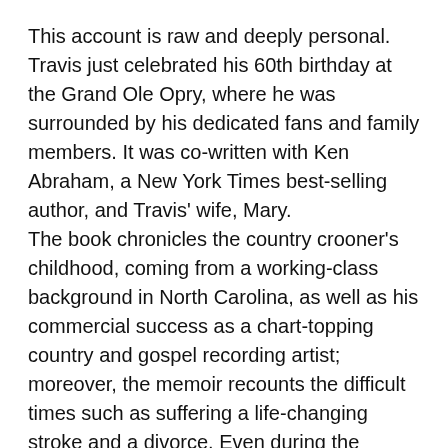This account is raw and deeply personal. Travis just celebrated his 60th birthday at the Grand Ole Opry, where he was surrounded by his dedicated fans and family members. It was co-written with Ken Abraham, a New York Times best-selling author, and Travis' wife, Mary.
The book chronicles the country crooner's childhood, coming from a working-class background in North Carolina, as well as his commercial success as a chart-topping country and gospel recording artist; moreover, the memoir recounts the difficult times such as suffering a life-changing stroke and a divorce. Even during the ordeals, Travis was able to persevere and rise above thanks to his indomitable spirit and faith.
He shares many stories that were previously untold, including his tense relationship with his father and his troubled youth, which was comprised of alcohol. Travis